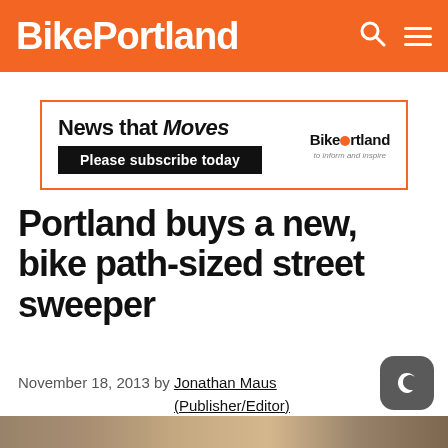BikePortland
[Figure (other): BikePortland advertisement banner: 'News that Moves - Please subscribe today']
Portland buys a new, bike path-sized street sweeper
November 18, 2013 by Jonathan Maus (Publisher/Editor)